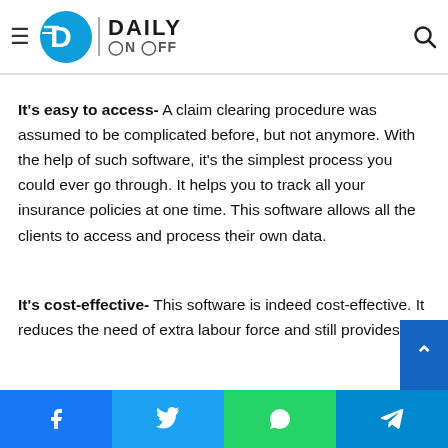Daily On Off — navigation bar with logo, hamburger menu, and search icon
and data without proper encryption. It prevents any unauthorised access which is a potential threat to privacy.
It's easy to access- A claim clearing procedure was assumed to be complicated before, but not anymore. With the help of such software, it's the simplest process you could ever go through. It helps you to track all your insurance policies at one time. This software allows all the clients to access and process their own data.
It's cost-effective- This software is indeed cost-effective. It reduces the need of extra labour force and still provides the
Facebook | Twitter | WhatsApp | Telegram — social share bar